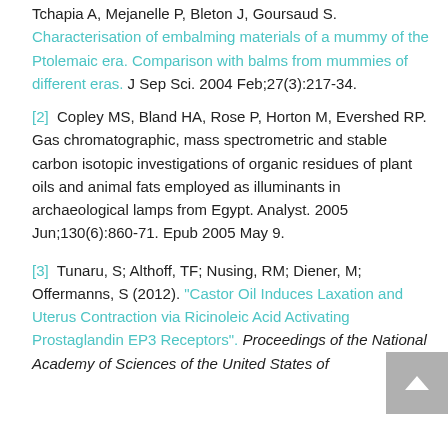Tchapia A, Mejanelle P, Bleton J, Goursaud S. Characterisation of embalming materials of a mummy of the Ptolemaic era. Comparison with balms from mummies of different eras. J Sep Sci. 2004 Feb;27(3):217-34.
[2] Copley MS, Bland HA, Rose P, Horton M, Evershed RP. Gas chromatographic, mass spectrometric and stable carbon isotopic investigations of organic residues of plant oils and animal fats employed as illuminants in archaeological lamps from Egypt. Analyst. 2005 Jun;130(6):860-71. Epub 2005 May 9.
[3] Tunaru, S; Althoff, TF; Nusing, RM; Diener, M; Offermanns, S (2012). "Castor Oil Induces Laxation and Uterus Contraction via Ricinoleic Acid Activating Prostaglandin EP3 Receptors". Proceedings of the National Academy of Sciences of the United States of